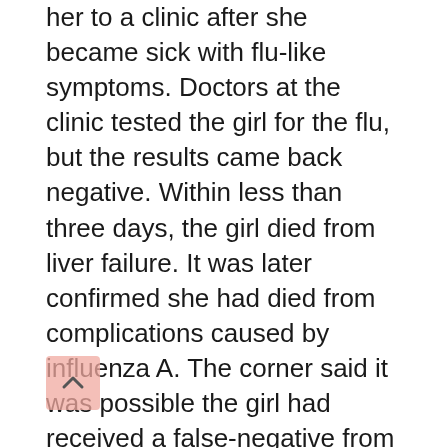her to a clinic after she became sick with flu-like symptoms. Doctors at the clinic tested the girl for the flu, but the results came back negative. Within less than three days, the girl died from liver failure. It was later confirmed she had died from complications caused by influenza A. The corner said it was possible the girl had received a false-negative from a rapid flu test.
Earlier this year, the Centers for Disease Control and Prevention (CDC) warned the public that rapid flu tests are accurate only 50 to 70 percent of the time. Rapid tests are the most common type used in hospitals during